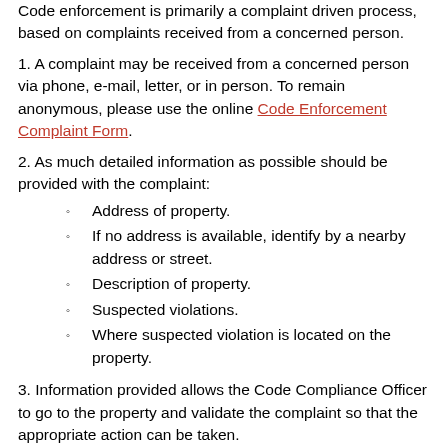Code enforcement is primarily a complaint driven process, based on complaints received from a concerned person.
1. A complaint may be received from a concerned person via phone, e-mail, letter, or in person. To remain anonymous, please use the online Code Enforcement Complaint Form.
2. As much detailed information as possible should be provided with the complaint:
Address of property.
If no address is available, identify by a nearby address or street.
Description of property.
Suspected violations.
Where suspected violation is located on the property.
3. Information provided allows the Code Compliance Officer to go to the property and validate the complaint so that the appropriate action can be taken.